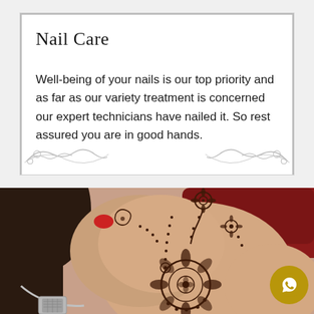Nail Care
Well-being of your nails is our top priority and as far as our variety treatment is concerned our expert technicians have nailed it. So rest assured you are in good hands.
[Figure (photo): Close-up photo of a woman's hand with intricate henna/mehndi mandala design. She is wearing a red outfit and a silver necklace. Her lips are partially visible showing red lipstick. A gold WhatsApp chat button appears in the bottom right corner.]